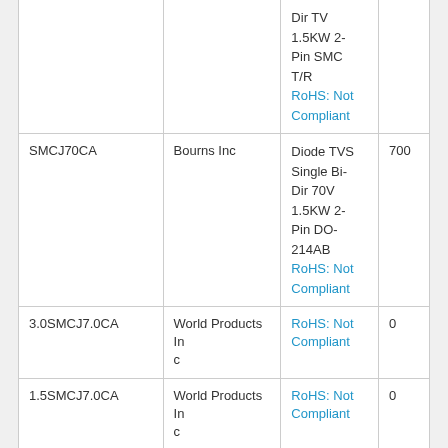| Part Number | Manufacturer | Description | Stock |
| --- | --- | --- | --- |
|  |  | Dir TV 1.5KW 2-Pin SMC T/R
RoHS: Not Compliant |  |
| SMCJ70CA | Bourns Inc | Diode TVS Single Bi-Dir 70V 1.5KW 2-Pin DO-214AB
RoHS: Not Compliant | 700 |
| 3.0SMCJ7.0CA | World Products Inc | RoHS: Not Compliant | 0 |
| 1.5SMCJ7.0CA | World Products Inc | RoHS: Not Compliant | 0 |
| SMCJ70CA-Q | Bourns Inc | [Message button] |  |